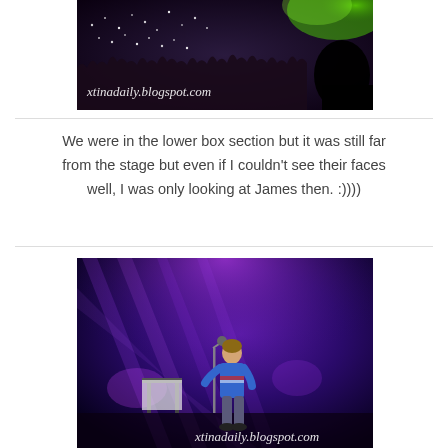[Figure (photo): Concert crowd photo from inside a venue, with crowd visible and green stage lights visible at the top right. Watermark reads 'xtinadaily.blogspot.com' in white italic script at bottom left.]
We were in the lower box section but it was still far from the stage but even if I couldn't see their faces well, I was only looking at James then. :))))
[Figure (photo): Concert stage photo showing a male performer standing at a microphone with purple/violet stage lights shining behind him. He appears to be wearing a blue outfit. A table or equipment stand is visible to his left. Watermark reads 'xtinadaily.blogspot.com' in white italic script at bottom right.]